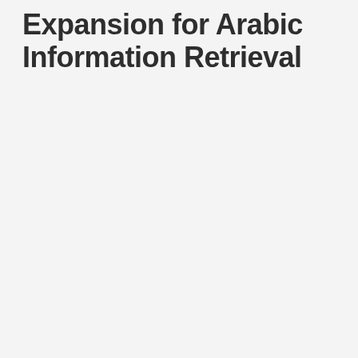Expansion for Arabic Information Retrieval